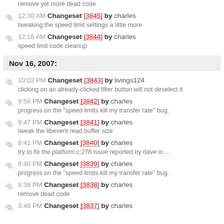remove yet more dead code
12:30 AM Changeset [3845] by charles — tweaking the speed limit settings a little more
12:16 AM Changeset [3844] by charles — speed limit code cleanup
Nov 16, 2007:
10:03 PM Changeset [3843] by livings124 — clicking on an already-clicked filter button will not deselect it
9:58 PM Changeset [3842] by charles — progress on the "speed limits kill my transfer rate" bug.
9:47 PM Changeset [3841] by charles — tweak the libevent read buffer size
8:41 PM Changeset [3840] by charles — try to fix the platform.c:278 issue reported by dave in ...
8:40 PM Changeset [3839] by charles — progress on the "speed limits kill my transfer rate" bug.
8:38 PM Changeset [3838] by charles — remove dead code
3:46 PM Changeset [3837] by charles